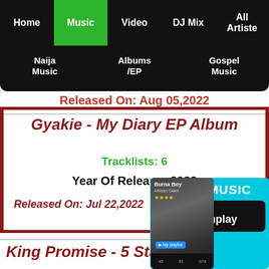Home | Music | Video | DJ Mix | All Artiste | Naija Music | Albums/EP | Gospel Music
Released On: Aug 05,2022
Gyakie - My Diary EP Album
Tracklists: 6
Year Of Release: 2022
Released On: Jul 22,2022
[Figure (screenshot): Ad banner for Boomplay showing FREE MUSIC and Get it on Boomplay button with a phone screenshot showing Burna Boy]
King Promise - 5 Star Album